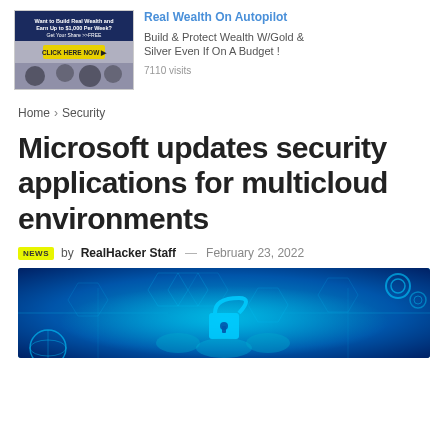[Figure (screenshot): Advertisement banner with thumbnail image on left showing crowd/event with 'CLICK HERE NOW' button, and text on right: 'Real Wealth On Autopilot', 'Build & Protect Wealth W/Gold & Silver Even If On A Budget !', '7110 visits']
Home > Security
Microsoft updates security applications for multicloud environments
by RealHacker Staff — February 23, 2022
[Figure (photo): Blue cybersecurity themed hero image featuring a glowing padlock icon surrounded by circuit board patterns, hexagonal shapes, and gear icons on a blue background]